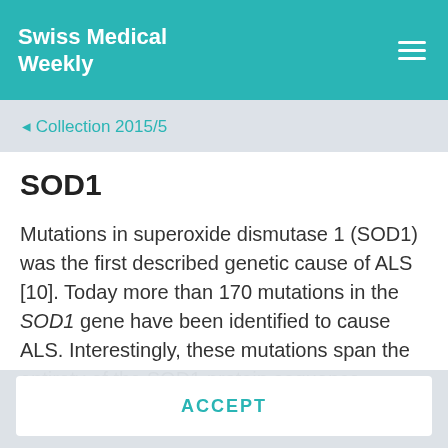Swiss Medical Weekly
◁ Collection 2015/5
SOD1
Mutations in superoxide dismutase 1 (SOD1) was the first described genetic cause of ALS [10]. Today more than 170 mutations in the SOD1 gene have been identified to cause ALS. Interestingly, these mutations span the entirety of the SOD1 protein sequence
In order to offer you a better user experience, we use cookies. Additional information can be found here..
ACCEPT